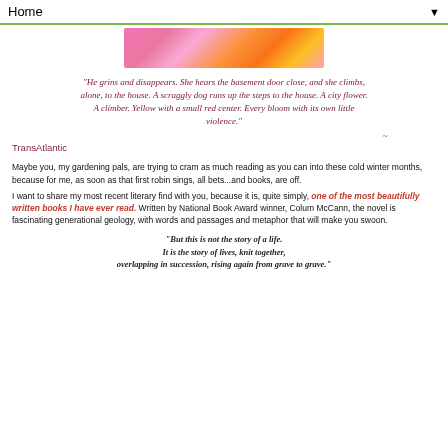Home ▼
[Figure (photo): Close-up photo of pink/magenta flowers with orange and yellow tones]
"He grins and disappears. She hears the basement door close, and she climbs, alone, to the house. A scraggly dog runs up the steps to the house. A city flower. A climber. Yellow with a small red center. Every bloom with its own little violence."
~
TransAtlantic
Maybe you, my gardening pals, are trying to cram as much reading as you can into these cold winter months, because for me, as soon as that first robin sings, all bets...and books, are off.
I want to share my most recent literary find with you, because it is, quite simply, one of the most beautifully written books I have ever read. Written by National Book Award winner, Colum McCann, the novel is fascinating generational geology, with words and passages and metaphor that will make you swoon.
"But this is not the story of a life. It is the story of lives, knit together, overlapping in succession, rising again from grave to grave."